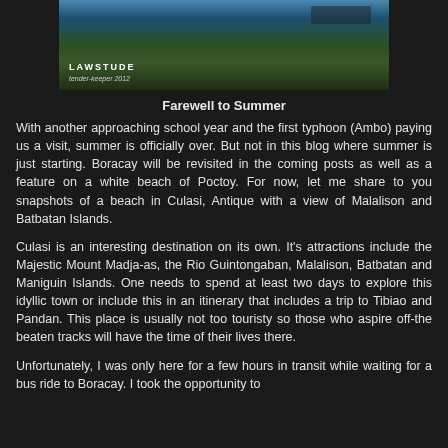[Figure (photo): Landscape photo with dark sky and grassland, showing text overlay 'LAWSTUDE' and a subtitle in small italic text below, possibly 'tender-keeper 2012']
Farewell to Summer
With another approaching school year and the first typhoon (Ambo) paying us a visit, summer is officially over. But not in this blog where summer is just starting. Boracay will be revisited in the coming posts as well as a feature on a white beach of Poctoy. For now, let me share to you snapshots of a beach in Culasi, Antique with a view of Malalison and Batbatan Islands.
Culasi is an interesting destination on its own. It's attractions include the Majestic Mount Madja-as, the Rio Guintongaban, Malalison, Batbatan and Maniguin Islands. One needs to spend at least two days to explore this idyllic town or include this in an itinerary that includes a trip to Tibiao and Pandan. This place is usually not too touristy so those who aspire off-the beaten tracks will have the time of their lives there.
Unfortunately, I was only here for a few hours in transit while waiting for a bus ride to Boracay. I took the opportunity to